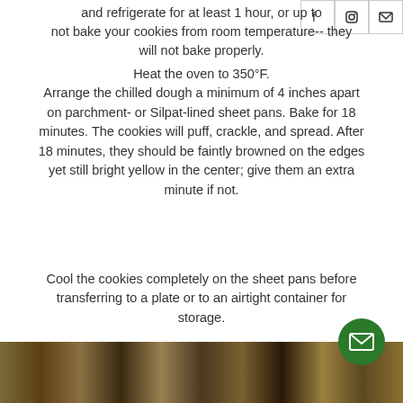and refrigerate for at least 1 hour, or up to not bake your cookies from room temperature-- they will not bake properly.
Heat the oven to 350°F. Arrange the chilled dough a minimum of 4 inches apart on parchment- or Silpat-lined sheet pans. Bake for 18 minutes. The cookies will puff, crackle, and spread. After 18 minutes, they should be faintly browned on the edges yet still bright yellow in the center; give them an extra minute if not.
Cool the cookies completely on the sheet pans before transferring to a plate or to an airtight container for storage.
[Figure (photo): Close-up photo of straw/hay or dried plant material, brownish-golden tones]